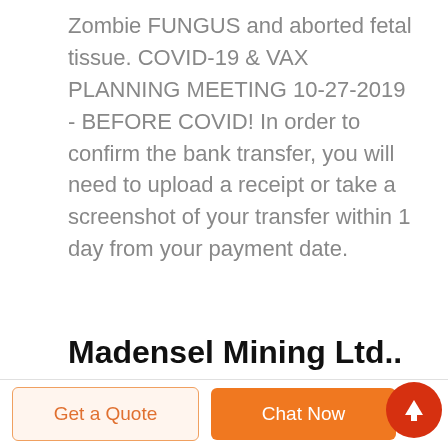Zombie FUNGUS and aborted fetal tissue. COVID-19 & VAX PLANNING MEETING 10-27-2019 - BEFORE COVID! In order to confirm the bank transfer, you will need to upload a receipt or take a screenshot of your transfer within 1 day from your payment date.
Madensel Mining Ltd.. Supplier from Turkey. View Company.